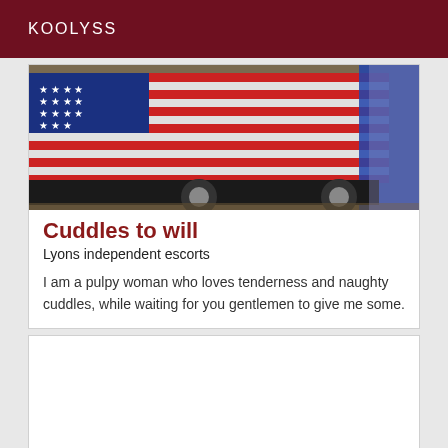KOOLYSS
[Figure (photo): A delivery truck with an American flag graphic wrap on its side, photographed with motion blur.]
Cuddles to will
Lyons independent escorts
I am a pulpy woman who loves tenderness and naughty cuddles, while waiting for you gentlemen to give me some.